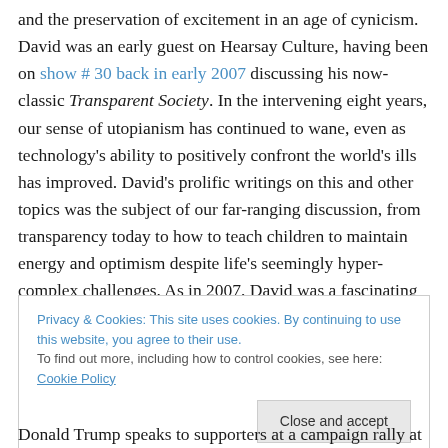and the preservation of excitement in an age of cynicism. David was an early guest on Hearsay Culture, having been on show # 30 back in early 2007 discussing his now-classic Transparent Society. In the intervening eight years, our sense of utopianism has continued to wane, even as technology's ability to positively confront the world's ills has improved. David's prolific writings on this and other topics was the subject of our far-ranging discussion, from transparency today to how to teach children to maintain energy and optimism despite life's seemingly hyper-complex challenges. As in 2007, David was a fascinating
Privacy & Cookies: This site uses cookies. By continuing to use this website, you agree to their use. To find out more, including how to control cookies, see here: Cookie Policy
Donald Trump speaks to supporters at a campaign rally at